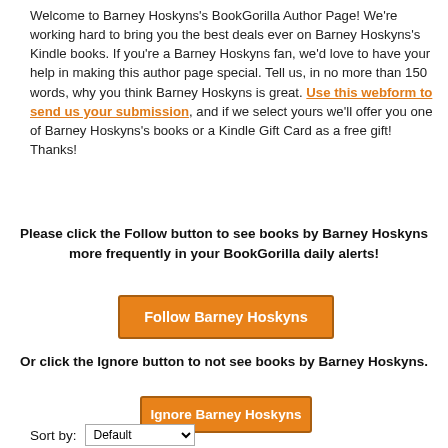Welcome to Barney Hoskyns's BookGorilla Author Page! We're working hard to bring you the best deals ever on Barney Hoskyns's Kindle books. If you're a Barney Hoskyns fan, we'd love to have your help in making this author page special. Tell us, in no more than 150 words, why you think Barney Hoskyns is great. Use this webform to send us your submission, and if we select yours we'll offer you one of Barney Hoskyns's books or a Kindle Gift Card as a free gift! Thanks!
Please click the Follow button to see books by Barney Hoskyns more frequently in your BookGorilla daily alerts!
[Figure (other): Orange button: Follow Barney Hoskyns]
Or click the Ignore button to not see books by Barney Hoskyns.
[Figure (other): Orange button: Ignore Barney Hoskyns]
Sort by: Default